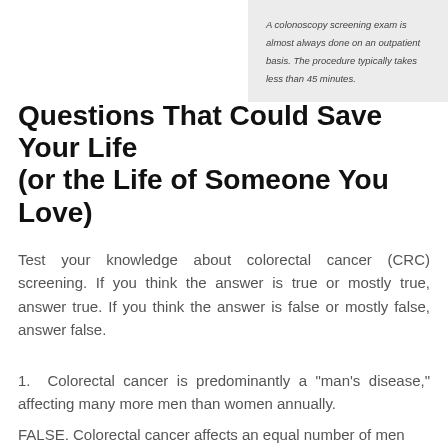A colonoscopy screening exam is almost always done on an outpatient basis. The procedure typically takes less than 45 minutes.
Questions That Could Save Your Life
(or the Life of Someone You Love)
Test your knowledge about colorectal cancer (CRC) screening. If you think the answer is true or mostly true, answer true. If you think the answer is false or mostly false, answer false.
1. Colorectal cancer is predominantly a "man's disease," affecting many more men than women annually.
FALSE. Colorectal cancer affects an equal number of men